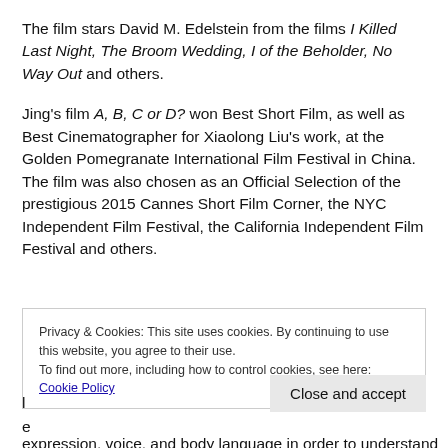The film stars David M. Edelstein from the films I Killed Last Night, The Broom Wedding, I of the Beholder, No Way Out and others.
Jing's film A, B, C or D? won Best Short Film, as well as Best Cinematographer for Xiaolong Liu's work, at the Golden Pomegranate International Film Festival in China. The film was also chosen as an Official Selection of the prestigious 2015 Cannes Short Film Corner, the NYC Independent Film Festival, the California Independent Film Festival and others.
Privacy & Cookies: This site uses cookies. By continuing to use this website, you agree to their use. To find out more, including how to control cookies, see here: Cookie Policy
expression, voice, and body language in order to understand